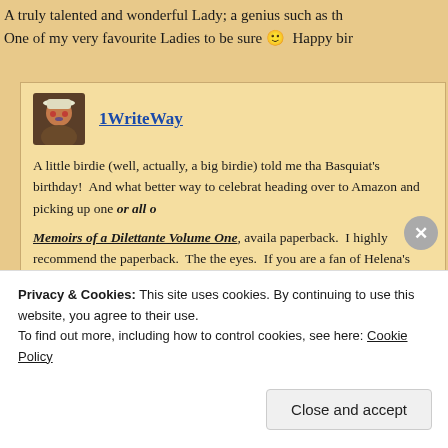A truly talented and wonderful Lady; a genius such as th... One of my very favourite Ladies to be sure 🙂 Happy bir...
[Figure (photo): Small avatar photo of a person wearing a hat, painted face, against dark background]
1WriteWay
A little birdie (well, actually, a big birdie) told me tha... Basquiat's birthday! And what better way to celebrat... heading over to Amazon and picking up one or all o...
Memoirs of a Dilettante Volume One, availa... paperback. I highly recommend the paperback. The... the eyes. If you are a fan of Helena's blog (and how c... love having the adventures of Penny dammit, Counte... in one beautifully designed place.
Privacy & Cookies: This site uses cookies. By continuing to use this website, you agree to their use. To find out more, including how to control cookies, see here: Cookie Policy
Close and accept